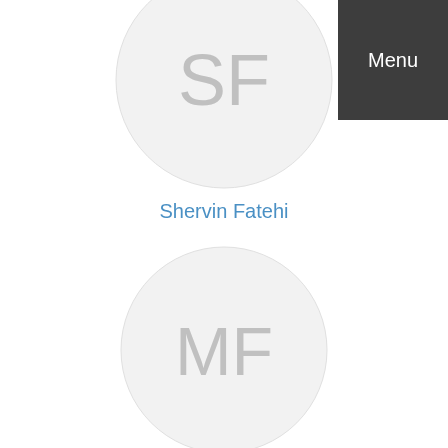[Figure (illustration): Avatar circle with initials SF (Shervin Fatehi), partially cropped at top of page]
Shervin Fatehi
[Figure (illustration): Avatar circle with initials MF (Miguel Fernandez)]
Miguel Fernandez
Menu